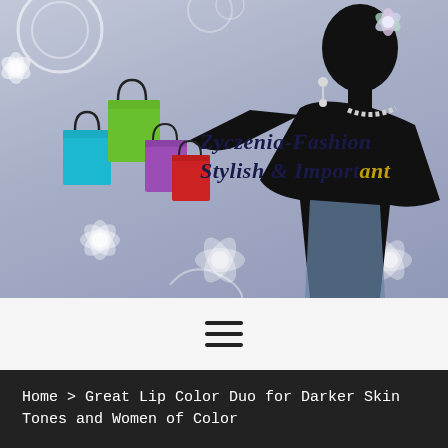[Figure (illustration): Website header banner for Zyczenia-Fashion showing a lavender-grey floral background, colorful shopping bags (teal, green, purple, red), black silhouette of a fashionable woman with pearl necklace and flower in hair, and bold italic logo text reading 'Zyczenia-Fashion Stylish & Important']
[Figure (other): Hamburger menu icon — three horizontal dark lines centered on a light grey navigation bar]
Home > Great Lip Color Duo for Darker Skin Tones and Women of Color